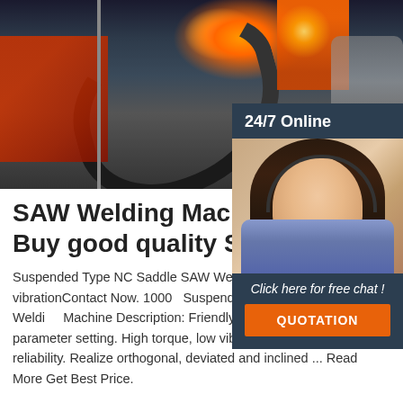[Figure (photo): Photo of a SAW welding machine in operation with sparks, cables, and a worker in the background]
[Figure (photo): 24/7 Online support panel showing a woman with a headset smiling, with a 'Click here for free chat!' call-to-action and an orange QUOTATION button]
SAW Welding Machine fact Buy good quality SAW
Suspended Type NC Saddle SAW Welding Machine low vibrationContact Now. 1000 Suspended Type NC Saddle SAW Welding Machine Description: Friendly HMI, and perfect parameter setting. High torque, low vibration, low heat and high reliability. Realize orthogonal, deviated and inclined ... Read More Get Best Price.